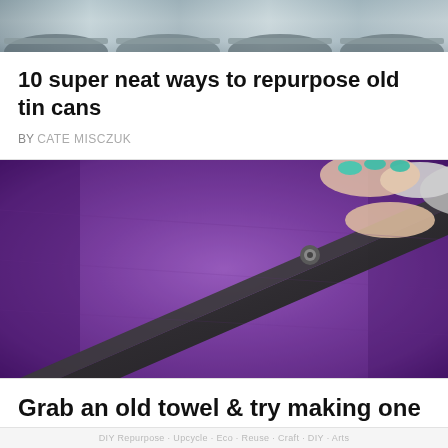[Figure (photo): Top portion of a photo showing tin cans from above, partially cropped]
10 super neat ways to repurpose old tin cans
BY CATE MISCZUK
[Figure (photo): Close-up photo of hands with teal nail polish cutting purple fabric with scissors]
Grab an old towel & try making one of these DIYs
DIY Repurpose  Upcycle  Eco  Reuse  Craft  DIY  ...